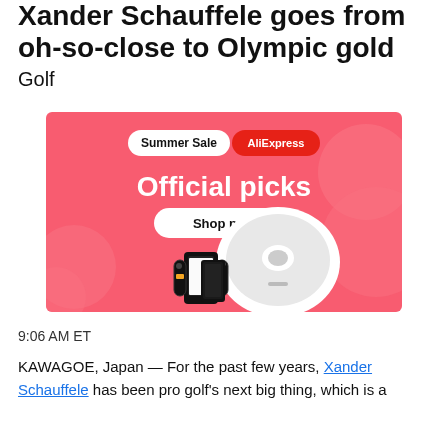Xander Schauffele goes from oh-so-close to Olympic gold
Golf
[Figure (other): AliExpress Summer Sale advertisement banner with pink background showing 'Summer Sale AliExpress Official picks Shop now' text with product images including a robot vacuum cleaner and Nintendo Switch OLED console]
9:06 AM ET
KAWAGOE, Japan — For the past few years, Xander Schauffele has been pro golf's next big thing, which is a